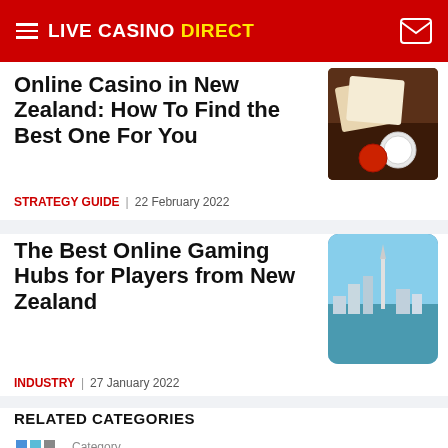LIVE CASINO DIRECT
Online Casino in New Zealand: How To Find the Best One For You
STRATEGY GUIDE | 22 February 2022
[Figure (photo): Casino chips and cards on a dark table]
The Best Online Gaming Hubs for Players from New Zealand
INDUSTRY | 27 January 2022
[Figure (photo): Auckland city skyline with Sky Tower]
RELATED CATEGORIES
[Figure (other): Colorful grid icon for category]
Category
Rummy Games